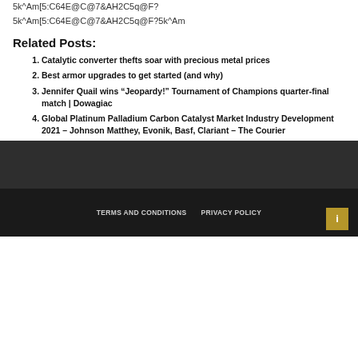5k^Am[5:C64E@C@7&AH2C5q@F?
5k^Am[5:C64E@C@7&AH2C5q@F?5k^Am
Related Posts:
Catalytic converter thefts soar with precious metal prices
Best armor upgrades to get started (and why)
Jennifer Quail wins “Jeopardy!” Tournament of Champions quarter-final match | Dowagiac
Global Platinum Palladium Carbon Catalyst Market Industry Development 2021 – Johnson Matthey, Evonik, Basf, Clariant – The Courier
TERMS AND CONDITIONS   PRIVACY POLICY